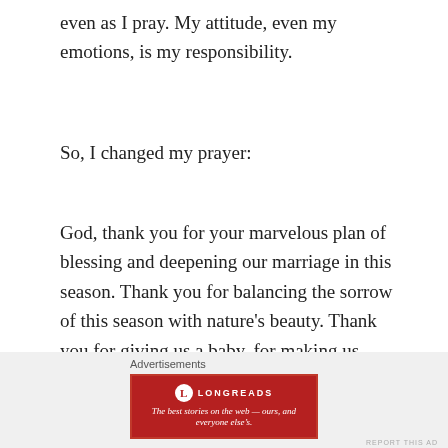even as I pray. My attitude, even my emotions, is my responsibility.
So, I changed my prayer:
God, thank you for your marvelous plan of blessing and deepening our marriage in this season. Thank you for balancing the sorrow of this season with nature's beauty. Thank you for giving us a baby, for making us parents. Thank you for teaching me your own faithfulness through pain. Thank you. Yes, thank you.
Advertisements
[Figure (logo): Longreads advertisement banner: red background with Longreads logo and tagline 'The best stories on the web — ours, and everyone else's.']